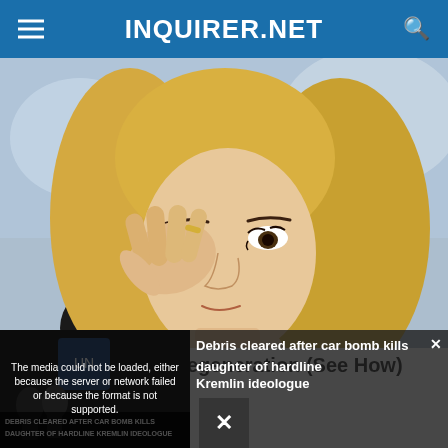INQUIRER.NET
[Figure (photo): Blonde woman rubbing or touching her eye with her hand, looking distressed, outdoors blurred background.]
Reverse Macular Degeneration (See How)
[Figure (screenshot): Video player overlay showing a dark thumbnail with text 'DEBRIS CLEARED AFTER CAR BOMB KILLS DAUGHTER OF HARDLINE KREMLIN IDEOLOGUE' and an error message 'The media could not be loaded, either because the server or network failed or because the format is not supported.' Alongside news headline text 'Debris cleared after car bomb kills daughter of hardline Kremlin ideologue' and a close (X) button.]